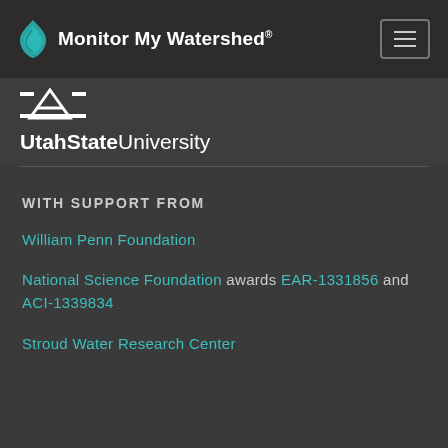Monitor My Watershed®
[Figure (logo): Utah State University logo with stylized mountain/A graphic above the text 'UtahState University' in white]
WITH SUPPORT FROM
William Penn Foundation
National Science Foundation awards EAR-1331856 and ACI-1339834
Stroud Water Research Center